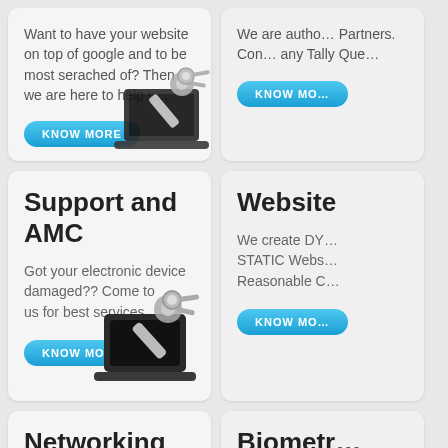Want to have your website on top of google and to be most serached of? Then we are here to help y…
We are autho… Partners. Con… any Tally Que…
Support and AMC
Got your electronic device damaged?? Come to us for best services.
Website
We create DY… STATIC Webs… Reasonable C…
Networking
We provide with the facility of Networking of the office effectively and efficiently
Biometr…
We provide yo… whole range o… device a…